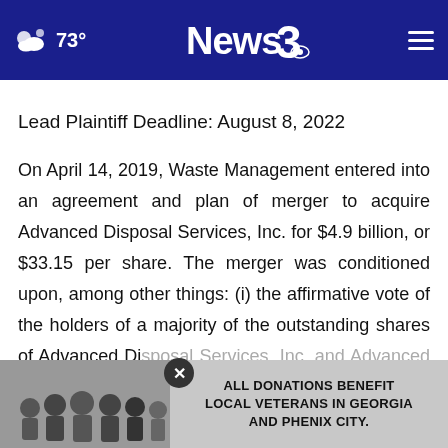News3 | 73° | navigation bar
Lead Plaintiff Deadline: August 8, 2022
On April 14, 2019, Waste Management entered into an agreement and plan of merger to acquire Advanced Disposal Services, Inc. for $4.9 billion, or $33.15 per share. The merger was conditioned upon, among other things: (i) the affirmative vote of the holders of a majority of the outstanding shares of Advanced Disposal Services, Inc. and Advanced Disposal Services shareholders to be held on
[Figure (photo): Advertisement overlay showing group photo of people in black shirts with text: ALL DONATIONS BENEFIT LOCAL VETERANS IN GEORGIA AND PHENIX CITY.]